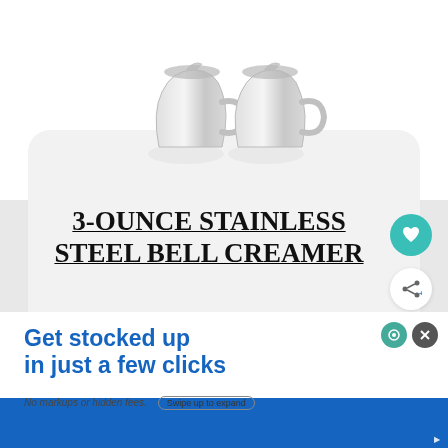[Figure (photo): Two stainless steel bell creamer pitchers side by side on a white background]
3-OUNCE STAINLESS STEEL BELL CREAMER
Photo Credit: Tezzorio Store
Continue Reading
[Figure (infographic): What's Next panel with thumbnail image and text: Tips to Assist the Process ...]
Get stocked up in just a few clicks
No markups or hidden fees.
Swipe up to expand